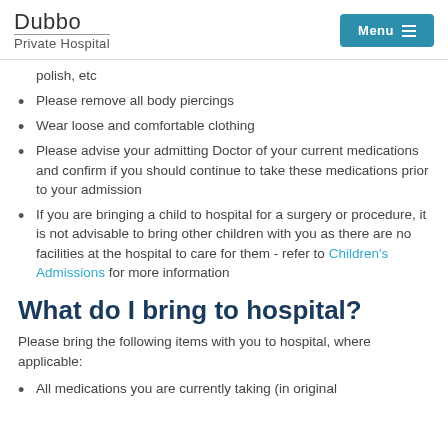Dubbo Private Hospital | Menu
polish, etc
Please remove all body piercings
Wear loose and comfortable clothing
Please advise your admitting Doctor of your current medications and confirm if you should continue to take these medications prior to your admission
If you are bringing a child to hospital for a surgery or procedure, it is not advisable to bring other children with you as there are no facilities at the hospital to care for them - refer to Children's Admissions for more information
What do I bring to hospital?
Please bring the following items with you to hospital, where applicable:
All medications you are currently taking (in original